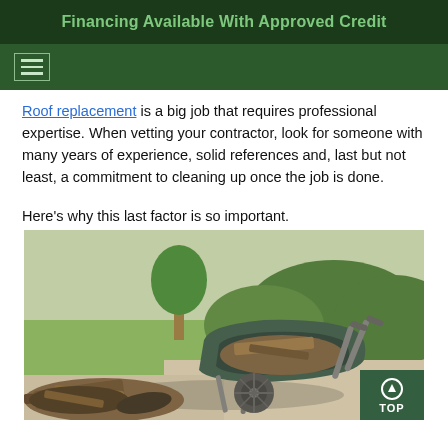Financing Available With Approved Credit
Roof replacement is a big job that requires professional expertise. When vetting your contractor, look for someone with many years of experience, solid references and, last but not least, a commitment to cleaning up once the job is done.
Here's why this last factor is so important.
[Figure (photo): A wheelbarrow filled with old roofing debris and shingles sitting on a driveway, with grass and shrubs visible in the background. A pile of old roofing materials is scattered in the foreground.]